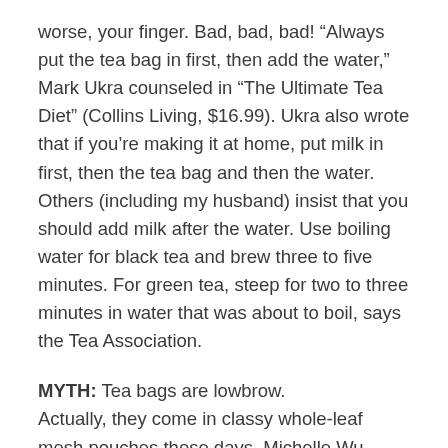worse, your finger. Bad, bad, bad! “Always put the tea bag in first, then add the water,” Mark Ukra counseled in “The Ultimate Tea Diet” (Collins Living, $16.99). Ukra also wrote that if you’re making it at home, put milk in first, then the tea bag and then the water. Others (including my husband) insist that you should add milk after the water. Use boiling water for black tea and brew three to five minutes. For green tea, steep for two to three minutes in water that was about to boil, says the Tea Association.
MYTH: Tea bags are lowbrow. Actually, they come in classy whole-leaf mesh pouches these days. Michelle Wu, owner of Chicago’s Loose Leaf Tea Loft, noted that loose-leaf